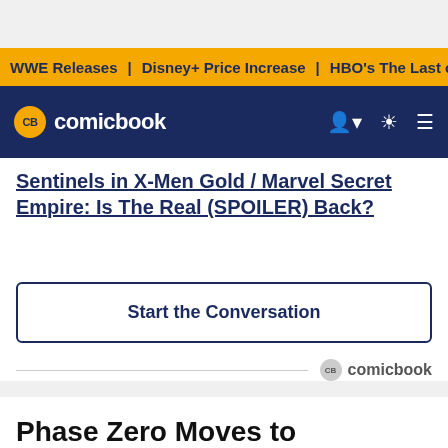WWE Releases | Disney+ Price Increase | HBO's The Last of
Sentinels in X-Men Gold / Marvel Secret Empire: Is The Real (SPOILER) Back?
Start the Conversation
[Figure (logo): Comicbook.com logo with CB badge]
Phase Zero Moves to Thursdays With